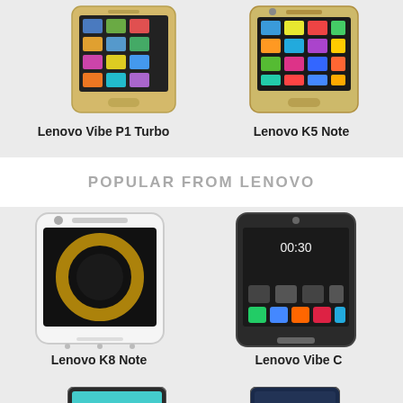[Figure (photo): Lenovo Vibe P1 Turbo smartphone image - gold colored phone]
Lenovo Vibe P1 Turbo
[Figure (photo): Lenovo K5 Note smartphone image - gold colored phone]
Lenovo K5 Note
POPULAR FROM LENOVO
[Figure (photo): Lenovo K8 Note smartphone image - white phone with dark screen showing circular design]
Lenovo K8 Note
[Figure (photo): Lenovo Vibe C smartphone image - dark/black phone with colorful app icons]
Lenovo Vibe C
[Figure (photo): Lenovo smartphone partially visible at bottom left - teal/blue screen]
[Figure (photo): Lenovo smartphone partially visible at bottom right - dark phone]